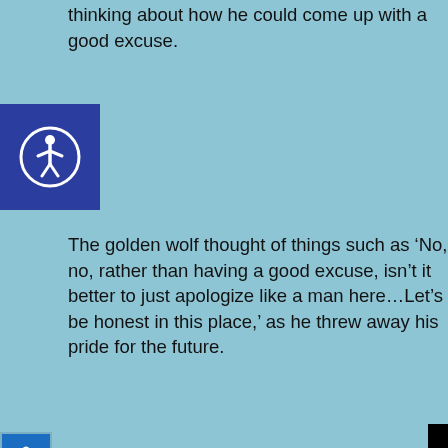thinking about how he could come up with a good excuse.
[Figure (illustration): Accessibility icon (person in circle) on dark blue square background, large version]
The golden wolf thought of things such as ‘No, no, rather than having a good excuse, isn’t it better to just apologize like a man here…Let’s be honest in this place,’ as he threw away his pride for the future.
[Figure (illustration): Accessibility icon (wheelchair symbol) on blue square background, small version]
“Sara, I…”
[Figure (screenshot): Black video player panel with circular loading spinner and X close button]
We use cookies to ensure that we give you the best experience on our website. If you continue to use this site we will assume that you are happy with it.
Ok